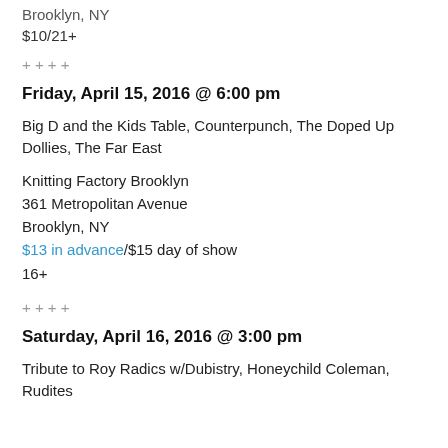Brooklyn, NY
$10/21+
+ + + +
Friday, April 15, 2016 @ 6:00 pm
Big D and the Kids Table, Counterpunch, The Doped Up Dollies, The Far East
Knitting Factory Brooklyn
361 Metropolitan Avenue
Brooklyn, NY
$13 in advance/$15 day of show
16+
+ + + +
Saturday, April 16, 2016 @ 3:00 pm
Tribute to Roy Radics w/Dubistry, Honeychild Coleman, Rudites